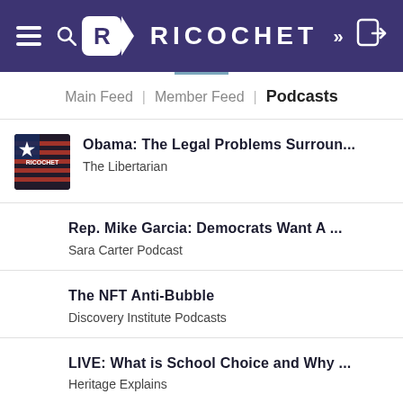RICOCHET
Main Feed | Member Feed | Podcasts
Obama: The Legal Problems Surroun...
The Libertarian
Rep. Mike Garcia: Democrats Want A ...
Sara Carter Podcast
The NFT Anti-Bubble
Discovery Institute Podcasts
LIVE: What is School Choice and Why ...
Heritage Explains